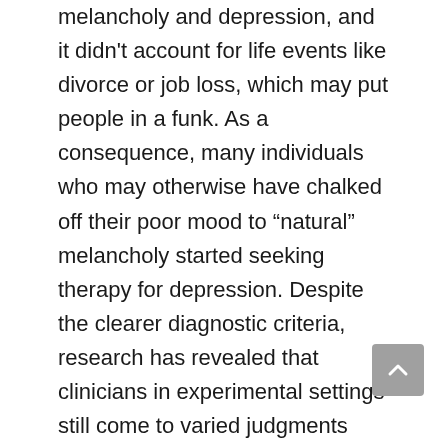melancholy and depression, and it didn't account for life events like divorce or job loss, which may put people in a funk. As a consequence, many individuals who may otherwise have chalked off their poor mood to “natural” melancholy started seeking therapy for depression. Despite the clearer diagnostic criteria, research has revealed that clinicians in experimental settings still come to varied judgments about how to identify a patient (in which doctors are given a hypothetical list of symptoms and asked to reach a diagnosis).
In the end, although the medicalization of depression served to alleviate some of the